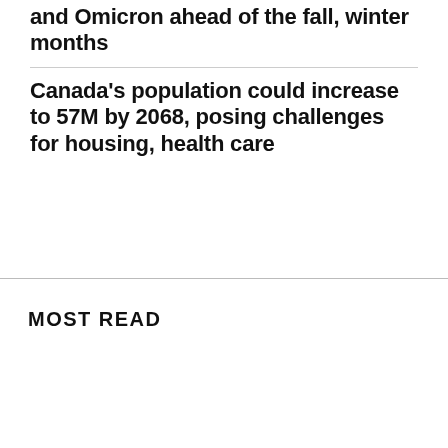What Canadians need to know about COVID-19 and Omicron ahead of the fall, winter months
Canada's population could increase to 57M by 2068, posing challenges for housing, health care
MOST READ
[Figure (photo): Close-up photo of a gun barrel viewed from the front]
Quebec premier vows to 'restore order' in Montreal amid gun
[Figure (photo): Partial photo of a room interior with bookshelves and furniture]
Montr launc